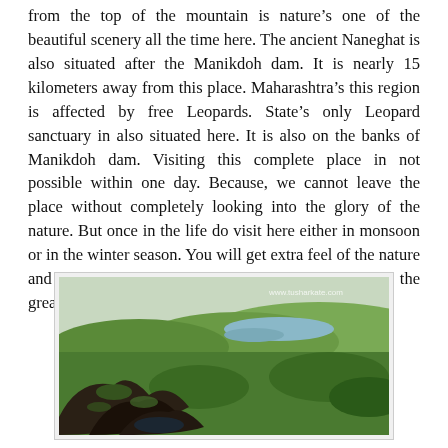from the top of the mountain is nature's one of the beautiful scenery all the time here. The ancient Naneghat is also situated after the Manikdoh dam. It is nearly 15 kilometers away from this place. Maharashtra's this region is affected by free Leopards. State's only Leopard sanctuary in also situated here. It is also on the banks of Manikdoh dam. Visiting this complete place in not possible within one day. Because, we cannot leave the place without completely looking into the glory of the nature. But once in the life do visit here either in monsoon or in the winter season. You will get extra feel of the nature and most importantly you will come to know about the great Sahyadri...
[Figure (photo): Aerial/panoramic view from a mountain top showing green forested hills, a winding river or dam, and valley below. Rocks with moss in the foreground. Watermark: www.tusharkate.com]